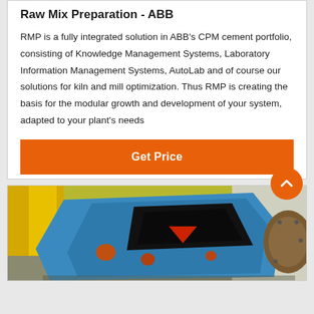Raw Mix Preparation - ABB
RMP is a fully integrated solution in ABB's CPM cement portfolio, consisting of Knowledge Management Systems, Laboratory Information Management Systems, AutoLab and of course our solutions for kiln and mill optimization. Thus RMP is creating the basis for the modular growth and development of your system, adapted to your plant's needs
Get Price
[Figure (photo): Industrial blue-painted heavy machinery (mill or crusher) with open housing, yellow structural elements visible in background, partial view of a circular component on the right side.]